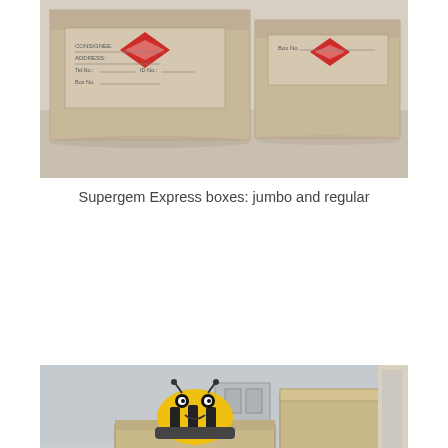[Figure (photo): Two cardboard moving boxes (Supergem Express branded with Superman-style logo) lying on a wooden floor, showing address label fields and Box No. fields on their faces — a larger jumbo box on the left and a smaller regular box on the right.]
Supergem Express boxes: jumbo and regular
[Figure (photo): Two tall cardboard boxes standing upright with red FRAGILE markings and handling symbols (umbrella, no hooks, fragile glass, keep upright). A yellow bee-shaped toy car sits on top of the smaller box on the left. The boxes are in a room with grey walls and a wooden door visible on the right.]